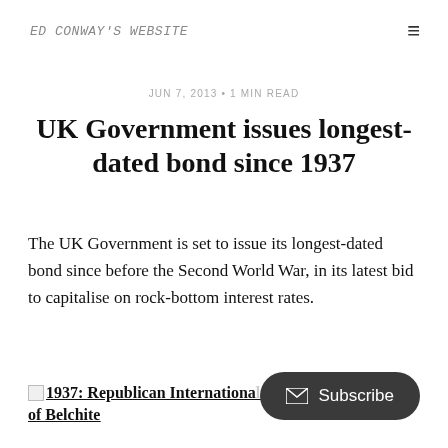Ed Conway's Website
JUN 7, 2013 • 1 MIN READ
UK Government issues longest-dated bond since 1937
The UK Government is set to issue its longest-dated bond since before the Second World War, in its latest bid to capitalise on rock-bottom interest rates.
1937: Republican International... Battle of Belchite
Subscribe